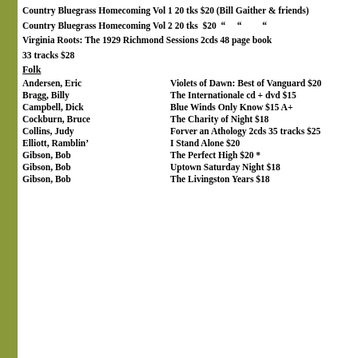Country Bluegrass Homecoming Vol 1 20 tks $20 (Bill Gaither & friends)
Country Bluegrass Homecoming Vol 2 20 tks  $20  "    "         "
Virginia Roots: The 1929 Richmond Sessions 2cds 48 page book
33 tracks $28
Folk
Andersen, Eric | Violets of Dawn: Best of Vanguard $20
Bragg, Billy | The Internationale cd + dvd $15
Campbell, Dick | Blue Winds Only Know $15 A+
Cockburn, Bruce | The Charity of Night $18
Collins, Judy | Forver an Athology 2cds 35 tracks $25
Elliott, Ramblin' | I Stand Alone $20
Gibson, Bob | The Perfect High $20 *
Gibson, Bob | Uptown Saturday Night $18
Gibson, Bob | The Livingston Years $18